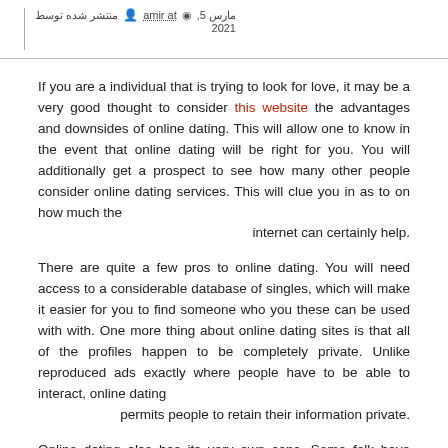منتشر شده توسط amir at مارس 5, 2021
If you are a individual that is trying to look for love, it may be a very good thought to consider this website the advantages and downsides of online dating. This will allow one to know in the event that online dating will be right for you. You will additionally get a prospect to see how many other people consider online dating services. This will clue you in as to on how much the internet can certainly help.
There are quite a few pros to online dating. You will need access to a considerable database of singles, which will make it easier for you to find someone who you these can be used with with. One more thing about online dating sites is that all of the profiles happen to be completely private. Unlike reproduced ads exactly where people have to be able to interact, online dating permits people to retain their information private.
Online dating also has its very own cons. Some folk have observed relationships and in some cases marriages to be harder than they thought. For this reason, you will find people